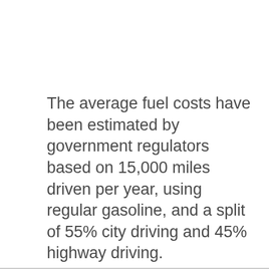The average fuel costs have been estimated by government regulators based on 15,000 miles driven per year, using regular gasoline, and a split of 55% city driving and 45% highway driving.
Comparing a 2007 Chevrolet Silverado C15 2WD to an average vehicle over 5 years, you will spend $7,850 more on fuel.